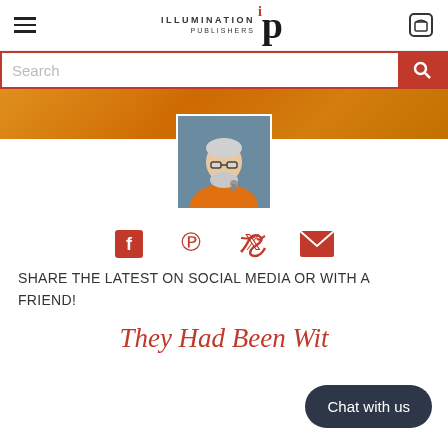Illumination Publishers
[Figure (screenshot): Illumination Publishers website header with hamburger menu, logo, and cart icon]
[Figure (photo): Orange banner background]
[Figure (photo): Profile photo of an older man with white beard wearing orange jacket, speaking at a microphone]
[Figure (infographic): Social media share icons: Facebook, Pinterest, Twitter, Email]
SHARE THE LATEST ON SOCIAL MEDIA OR WITH A FRIEND!
They Had Been Wi...